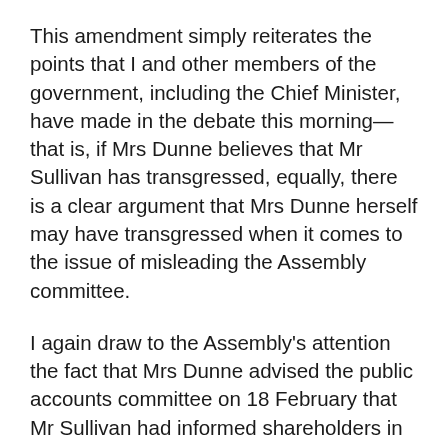This amendment simply reiterates the points that I and other members of the government, including the Chief Minister, have made in the debate this morning—that is, if Mrs Dunne believes that Mr Sullivan has transgressed, equally, there is a clear argument that Mrs Dunne herself may have transgressed when it comes to the issue of misleading the Assembly committee.
I again draw to the Assembly's attention the fact that Mrs Dunne advised the public accounts committee on 18 February that Mr Sullivan had informed shareholders in writing that he had been authorised to spend $149 million and that the total out-turn cost was $149.8 million. That was incorrect, Mr Speaker. In fact, Mr Sullivan advised the shareholders of the approval by the board of the total budget of $149 million and that the total out-turn cost was only $116.7 million.